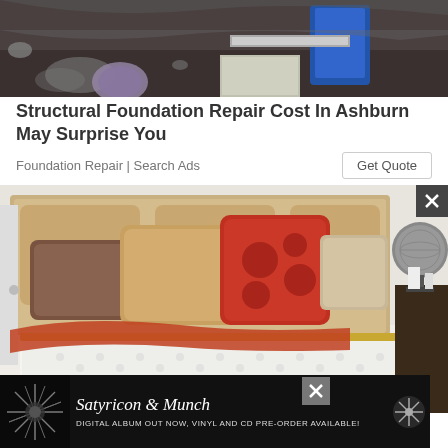[Figure (photo): Foundation repair site with construction equipment including a hydraulic jack and concrete footing in a dirt excavation area]
Structural Foundation Repair Cost In Ashburn May Surprise You
Foundation Repair | Search Ads
Get Quote
[Figure (photo): Luxury bed with tufted white mattress, upholstered headboard, and decorative pillows including brown, tan, and red polka-dot pillows]
[Figure (photo): Satyricon & Munch advertisement banner - Digital album out now, vinyl and CD pre-order available]